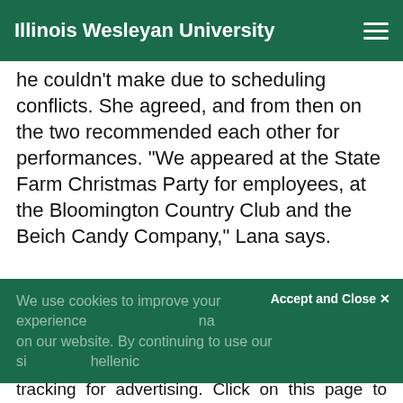Illinois Wesleyan University
he couldn't make due to scheduling conflicts. She agreed, and from then on the two recommended each other for performances. “We appeared at the State Farm Christmas Party for employees, at the Bloomington Country Club and the Beich Candy Company,” Lana says.
We use cookies to improve your experience on our website. By continuing to use our site...
Accept and Close ×
Your browser settings do not allow cross-site tracking for advertising. Click on this page to allow AdRoll to use cross-site tracking to tailor ads to you. Learn more or opt out of this AdRoll tracking by clicking here. This message only appears once.
in a dance — story by Mona Birgit von Baraclides 76